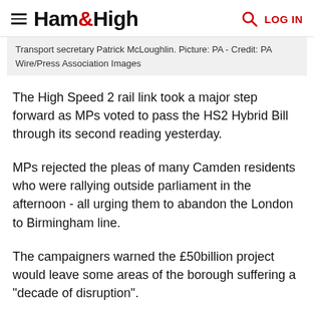Ham&High — LOG IN
Transport secretary Patrick McLoughlin. Picture: PA - Credit: PA Wire/Press Association Images
The High Speed 2 rail link took a major step forward as MPs voted to pass the HS2 Hybrid Bill through its second reading yesterday.
MPs rejected the pleas of many Camden residents who were rallying outside parliament in the afternoon - all urging them to abandon the London to Birmingham line.
The campaigners warned the £50billion project would leave some areas of the borough suffering a "decade of disruption".
David Cameron faced a rebellion within his own party